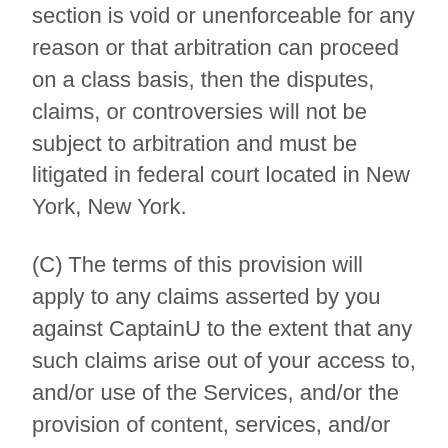section is void or unenforceable for any reason or that arbitration can proceed on a class basis, then the disputes, claims, or controversies will not be subject to arbitration and must be litigated in federal court located in New York, New York.
(C) The terms of this provision will apply to any claims asserted by you against CaptainU to the extent that any such claims arise out of your access to, and/or use of the Services, and/or the provision of content, services, and/or technology on or through the Services.
Arbitration READ THIS SECTION CAREFULLY